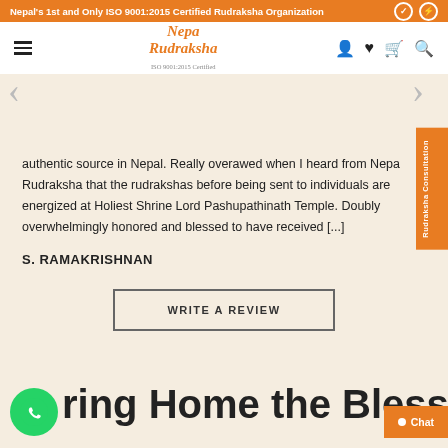Nepal's 1st and Only ISO 9001:2015 Certified Rudraksha Organization
[Figure (screenshot): Nepa Rudraksha logo with navigation bar including hamburger menu, logo, and icons for account, wishlist, cart, search]
authentic source in Nepal. Really overawed when I heard from Nepa Rudraksha that the rudrakshas before being sent to individuals are energized at Holiest Shrine Lord Pashupathinath Temple. Doubly overwhelmingly honored and blessed to have received [...]
S. RAMAKRISHNAN
WRITE A REVIEW
Bring Home the Blessing